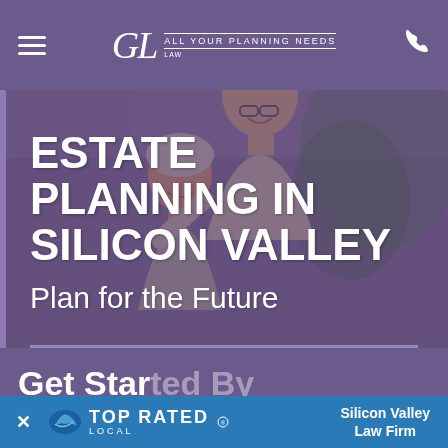GL Law — All Your Planning Needs
[Figure (photo): Smiling elderly couple, man behind woman, outdoor setting with blurred background, purple overlay]
ESTATE PLANNING IN SILICON VALLEY
Plan for the Future
CONTACT US TODAY
Get Started By Contacting The Law
[Figure (logo): Top Rated Local badge — blue banner with shark logo, TOP RATED LOCAL text, Silicon Valley Law Firm label]